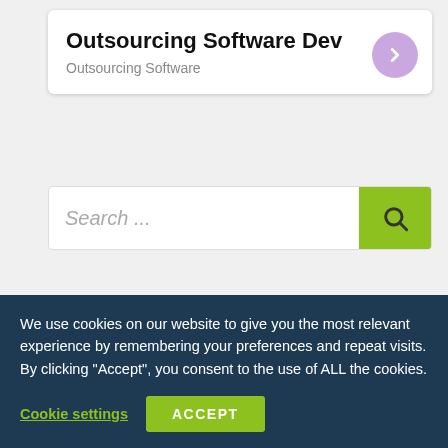Outsourcing Software Dev
Outsourcing Software
[Figure (screenshot): Search input field with green search button containing a magnifying glass icon]
[Figure (screenshot): Blue banner image with green text partially visible and Android robot mascot on the right]
We use cookies on our website to give you the most relevant experience by remembering your preferences and repeat visits. By clicking "Accept", you consent to the use of ALL the cookies.
Cookie settings
ACCEPT